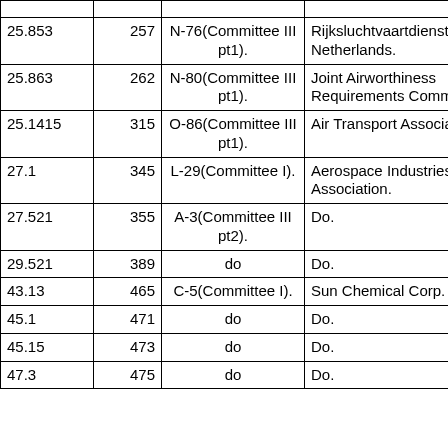|  |  |  |  |
| --- | --- | --- | --- |
| 25.853 | 257 | N-76(Committee III pt1). | Rijksluchtvaartdienst Netherlands. |
| 25.863 | 262 | N-80(Committee III pt1). | Joint Airworthiness Requirements Committee. |
| 25.1415 | 315 | O-86(Committee III pt1). | Air Transport Association. |
| 27.1 | 345 | L-29(Committee I). | Aerospace Industries Association. |
| 27.521 | 355 | A-3(Committee III pt2). | Do. |
| 29.521 | 389 | do | Do. |
| 43.13 | 465 | C-5(Committee I). | Sun Chemical Corp. |
| 45.1 | 471 | do | Do. |
| 45.15 | 473 | do | Do. |
| 47.3 | 475 | do | Do. |